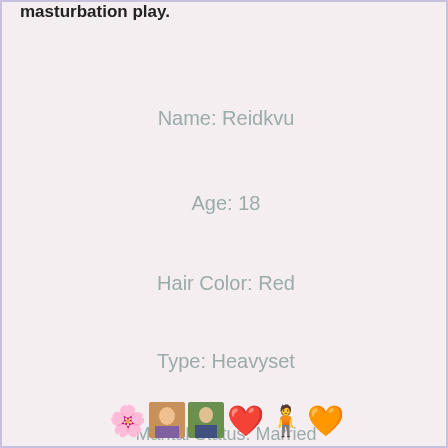masturbation play.
Name: Reidkvu
Age: 18
Hair Color: Red
Type: Heavyset
Marital Status: Married
City: Wiggins, MS 39577
[Figure (other): Row of small icon images and emoji icons including photos and heart/person symbols]